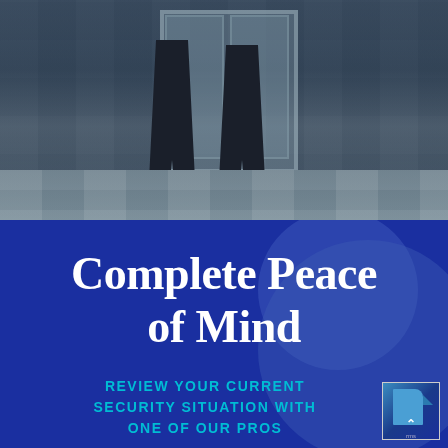[Figure (photo): Security guard standing at building entrance, view from waist down showing legs and shoes, standing on tiled pavement in front of glass doors]
Complete Peace of Mind
REVIEW YOUR CURRENT SECURITY SITUATION WITH ONE OF OUR PROS
[Figure (other): Small document/page icon with chevron in bottom right corner]